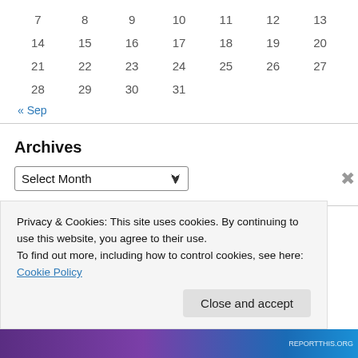| 7 | 8 | 9 | 10 | 11 | 12 | 13 |
| 14 | 15 | 16 | 17 | 18 | 19 | 20 |
| 21 | 22 | 23 | 24 | 25 | 26 | 27 |
| 28 | 29 | 30 | 31 |  |  |  |
« Sep
Archives
Select Month
Categories
Privacy & Cookies: This site uses cookies. By continuing to use this website, you agree to their use.
To find out more, including how to control cookies, see here: Cookie Policy
Close and accept